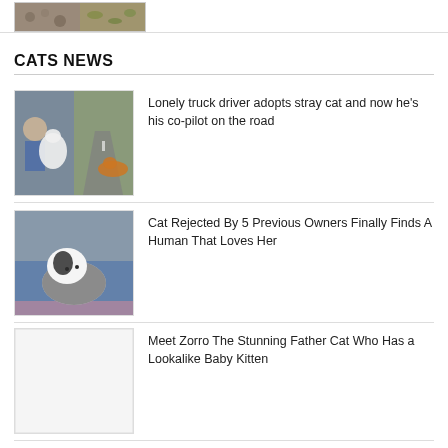[Figure (photo): Top thumbnail image showing two photos side by side (rocks/gravel and leaves)]
CATS NEWS
[Figure (photo): Two-panel image: man with white cat on left, orange cat lying on car dashboard with road view on right]
Lonely truck driver adopts stray cat and now he's his co-pilot on the road
[Figure (photo): Black and white cat lying on a blue blanket/bed, resting head down]
Cat Rejected By 5 Previous Owners Finally Finds A Human That Loves Her
[Figure (photo): Placeholder/blank image area for Zorro cat story]
Meet Zorro The Stunning Father Cat Who Has a Lookalike Baby Kitten